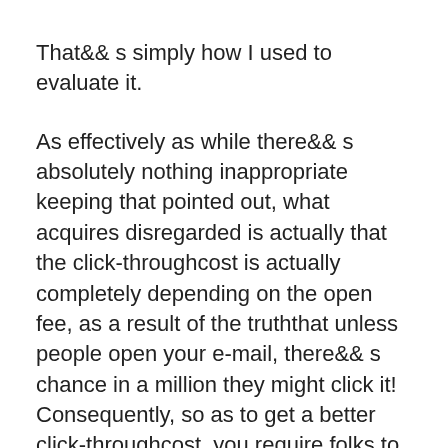That&amp;& s simply how I used to evaluate it.
As effectively as while there&amp;& s absolutely nothing inappropriate keeping that pointed out, what acquires disregarded is actually that the click-throughcost is actually completely depending on the open fee, as a result of the truththat unless people open your e-mail, there&amp;& s chance in a million they might click it! Consequently, so as to get a better click-throughcost, you require folks to open your email.
Thus, simply exactly how conduct you get added folks to open your email?